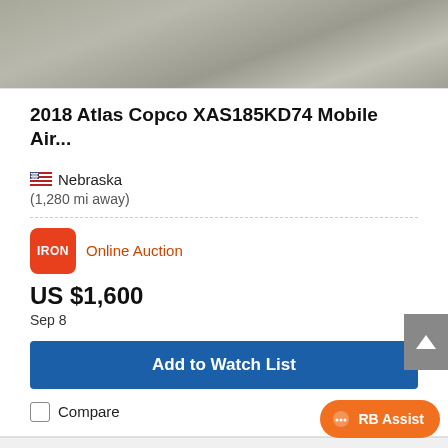[Figure (photo): Top portion of a gravel/stone surface photo, partial view]
2018 Atlas Copco XAS185KD74 Mobile Air...
Nebraska
(1,280 mi away)
[Figure (logo): IRON logo - orange square with white IRON text]
Online Auction
US $1,600
Sep 8
Add to Watch List
Compare
[Figure (photo): Bottom listing photo showing equipment with trees in background, partial view]